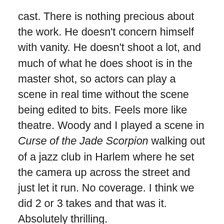cast. There is nothing precious about the work. He doesn't concern himself with vanity. He doesn't shoot a lot, and much of what he does shoot is in the master shot, so actors can play a scene in real time without the scene being edited to bits. Feels more like theatre. Woody and I played a scene in Curse of the Jade Scorpion walking out of a jazz club in Harlem where he set the camera up across the street and just let it run. No coverage. I think we did 2 or 3 takes and that was it. Absolutely thrilling.
Can you tell us a bit about one of your latest projects, All Joking Aside. What can our readers expect to see? And what made you want to bring this story to the world?
I was approached by the director, Shannon Kohli, who I adore, when we were working together on another project.